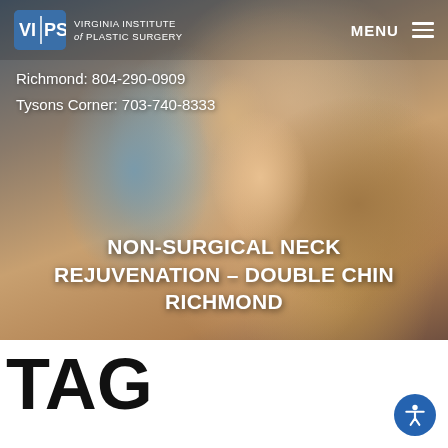[Figure (photo): Hero background image of a blonde woman with blue eyes resting her chin on her hand, with a soft blurred interior background. The image has a dark overlay tint.]
VIPS Virginia Institute of Plastic Surgery | MENU
Richmond: 804-290-0909
Tysons Corner: 703-740-8333
NON-SURGICAL NECK REJUVENATION – DOUBLE CHIN RICHMOND
TAG